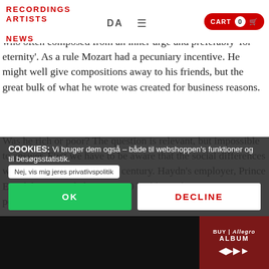RECORDINGS ARTISTS NEWS | DA | CART 0
The s…ve recorded were almost all written on commission for money. Mozart was not like Beethoven, who often composed from an inner urge and preferably 'for eternity'. As a rule Mozart had a pecuniary incentive. He might well give compositions away to his friends, but the great bulk of what he wrote was created for business reasons.
Was he rich or poor? The question is relevant, but impossible to answer. First we have to be aware that the social differences we … and of the eighteenth century. Haydn's employer, Prince Esterházy, owned about 45,000 buildings: ho… s. His possessions had an overall…
COOKIES: Vi bruger dem også – både til webshoppen's funktioner og til besøgsstatistik.
Nej, vis mig jeres privatlivspolitik
OK
DECLINE
BUY | Allegro
ALBUM